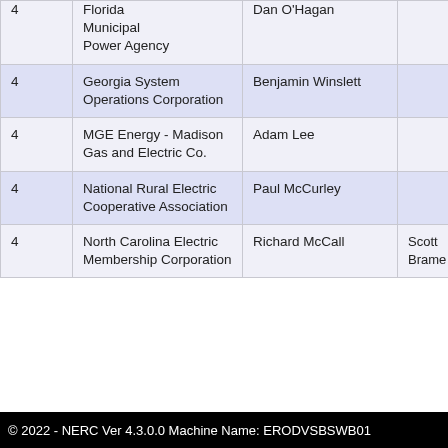| # | Organization | Primary Contact | Alternate Contact |
| --- | --- | --- | --- |
| 4 | Florida Municipal Power Agency | Dan O'Hagan |  |
| 4 | Georgia System Operations Corporation | Benjamin Winslett |  |
| 4 | MGE Energy - Madison Gas and Electric Co. | Adam Lee |  |
| 4 | National Rural Electric Cooperative Association | Paul McCurley |  |
| 4 | North Carolina Electric Membership Corporation | Richard McCall | Scott Brame |
© 2022 - NERC Ver 4.3.0.0 Machine Name: ERODVSBSWB01